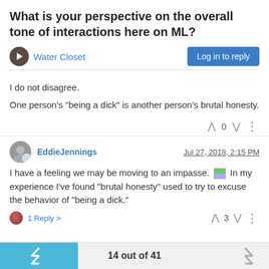What is your perspective on the overall tone of interactions here on ML?
Water Closet
I do not disagree.
One person's "being a dick" is another person's brutal honesty.
EddieJennings  Jul 27, 2018, 2:15 PM
I have a feeling we may be moving to an impasse. 🏳 In my experience I've found "brutal honesty" used to try to excuse the behavior of "being a dick."
1 Reply >
14 out of 41